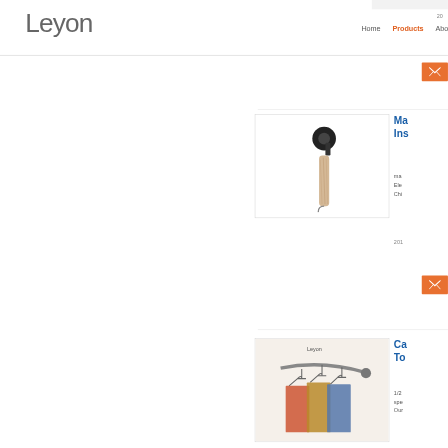[Figure (logo): Leyon company logo in gray stylized text]
Home   Products   About
[Figure (photo): Wall-mounted umbrella holder product photo showing black pipe flange and beige folded umbrella]
Ma... Ins...
ma... Ele... Chi... 201...
[Figure (photo): Cast iron pipe clothing rod with hanging clothes and coat hangers, branded Leyon]
Ca... To...
1/2... spe... Our...